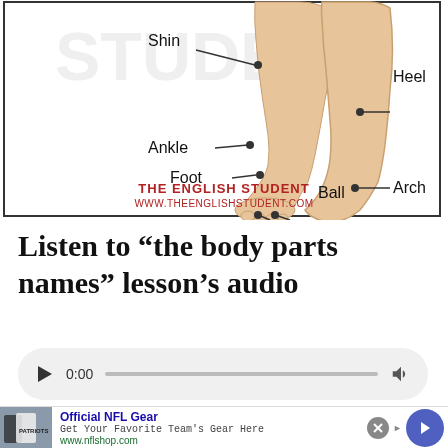[Figure (illustration): Diagram of lower leg and foot anatomy labeled with: Shin, Heel, Ankle, Arch, Foot, Ball, Toe. Branded with 'THE ENGLISH STUDENT' and 'WWW.THEENGLISHSTUDENT.COM' in red text at the bottom of the diagram box.]
Listen to "the body parts names" lesson's audio
[Figure (screenshot): Audio player widget showing play button, time 0:00, progress bar, and volume icon.]
[Figure (infographic): Advertisement for Official NFL Gear. Image of NFL jerseys on left. Text: 'Official NFL Gear', 'Get Your Favorite Team's Gear Here', 'www.nflshop.com'. Close X button and forward arrow navigation button on right.]